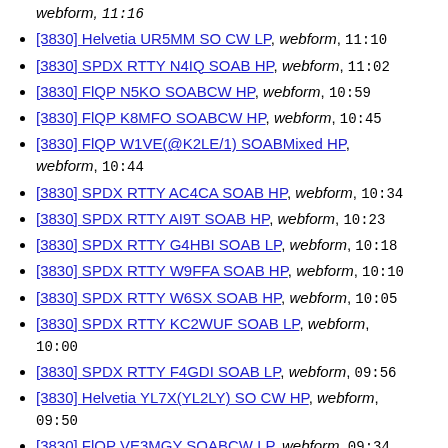webform, 11:16
[3830] Helvetia UR5MM SO CW LP, webform, 11:10
[3830] SPDX RTTY N4IQ SOAB HP, webform, 11:02
[3830] FlQP N5KO SOABCW HP, webform, 10:59
[3830] FlQP K8MFO SOABCW HP, webform, 10:45
[3830] FlQP W1VE(@K2LE/1) SOABMixed HP, webform, 10:44
[3830] SPDX RTTY AC4CA SOAB HP, webform, 10:34
[3830] SPDX RTTY AI9T SOAB HP, webform, 10:23
[3830] SPDX RTTY G4HBI SOAB LP, webform, 10:18
[3830] SPDX RTTY W9FFA SOAB HP, webform, 10:10
[3830] SPDX RTTY W6SX SOAB HP, webform, 10:05
[3830] SPDX RTTY KC2WUF SOAB LP, webform, 10:00
[3830] SPDX RTTY F4GDI SOAB LP, webform, 09:56
[3830] Helvetia YL7X(YL2LY) SO CW HP, webform, 09:50
[3830] FlQP VE3MGY SOABCW LP, webform, 09:34
[3830] Helvetia OZ4FF SO CW LP, webform, 09:33
[3830] SPDX RTTY K2YG SOAB QRP, webform, 09:31
[3830] SPDX RTTY F1IWH SOAB LP, webform, 09:18
[3830] SPDX RTTY DF2F(DF2SD) SOAB HP, webform, 09:04
[3830] FlQP K4WW SOAB(A)CW HP, webform, 09:00
[3830] SPDX RTTY N7US SOAB HP, webform, 08:57